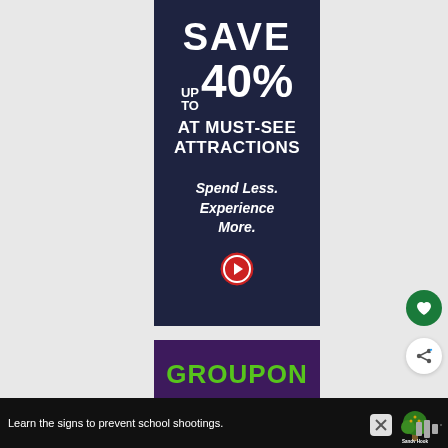[Figure (infographic): Advertisement banner with dark navy background. Large white bold text reads 'SAVE UP TO 40%' followed by 'AT MUST-SEE ATTRACTIONS'. Italic white text below reads 'Spend Less. Experience More.' with a red circular arrow button.]
[Figure (logo): Groupon advertisement with dark purple background and green bold GROUPON text logo.]
Learn the signs to prevent school shootings.
[Figure (logo): Sandy Hook Promise tree logo in green and gold tones.]